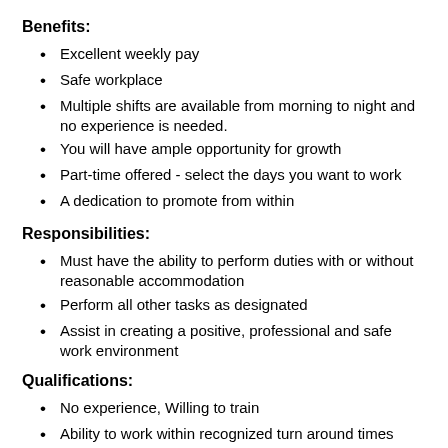Benefits:
Excellent weekly pay
Safe workplace
Multiple shifts are available from morning to night and no experience is needed.
You will have ample opportunity for growth
Part-time offered - select the days you want to work
A dedication to promote from within
Responsibilities:
Must have the ability to perform duties with or without reasonable accommodation
Perform all other tasks as designated
Assist in creating a positive, professional and safe work environment
Qualifications:
No experience, Willing to train
Ability to work within recognized turn around times